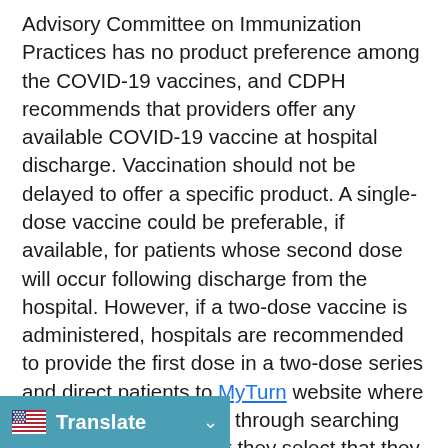Advisory Committee on Immunization Practices has no product preference among the COVID-19 vaccines, and CDPH recommends that providers offer any available COVID-19 vaccine at hospital discharge. Vaccination should not be delayed to offer a specific product. A single-dose vaccine could be preferable, if available, for patients whose second dose will occur following discharge from the hospital. However, if a two-dose vaccine is administered, hospitals are recommended to provide the first dose in a two-dose series and direct patients to MyTurn website where the site will guide them through searching for a second dose after they select that they have already received a first dose.
Additionally, for hospitals not in the state vaccination network administered by Third-Party Administrator (TPA) Blue Shield, hospitals will need to take these
[Figure (other): Translate button bar at bottom left with US flag icon and dropdown chevron on a teal/blue background]